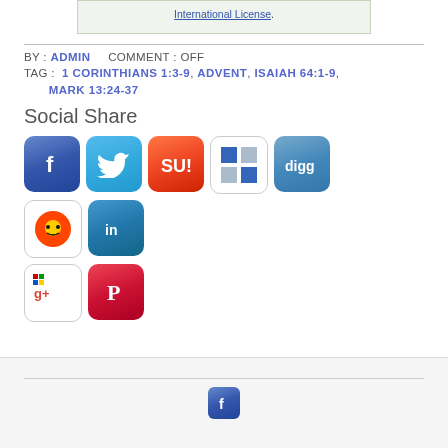International License.
BY : ADMIN   COMMENT : OFF
TAG : 1 CORINTHIANS 1:3-9, ADVENT, ISAIAH 64:1-9, MARK 13:24-37
Social Share
[Figure (infographic): Row of social media share buttons: Facebook, Twitter, StumbleUpon, Delicious, Digg, Reddit, LinkedIn]
[Figure (infographic): Second row of social media share buttons: Google+, Pinterest]
[Figure (infographic): Footer Facebook icon]